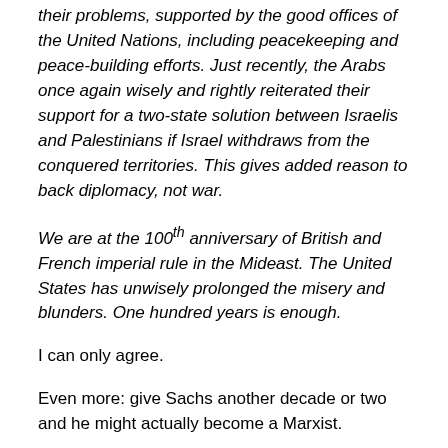their problems, supported by the good offices of the United Nations, including peacekeeping and peace-building efforts. Just recently, the Arabs once again wisely and rightly reiterated their support for a two-state solution between Israelis and Palestinians if Israel withdraws from the conquered territories. This gives added reason to back diplomacy, not war.
We are at the 100th anniversary of British and French imperial rule in the Mideast. The United States has unwisely prolonged the misery and blunders. One hundred years is enough.
I can only agree.
Even more: give Sachs another decade or two and he might actually become a Marxist.